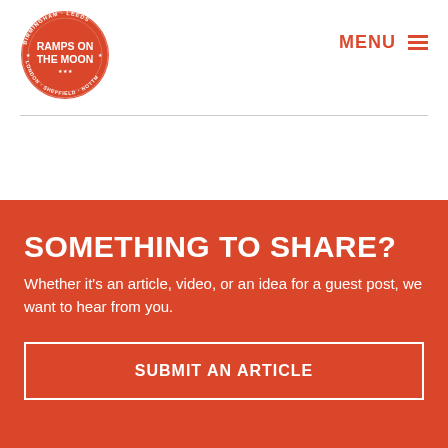[Figure (logo): Ramps on the Moon circular logo in orange/red with white text, listing cities: Birmingham, Leeds, Nottingham, London, Sheffield, Ipswich]
MENU
SOMETHING TO SHARE?
Whether it's an article, video, or an idea for a guest post, we want to hear from you.
SUBMIT AN ARTICLE